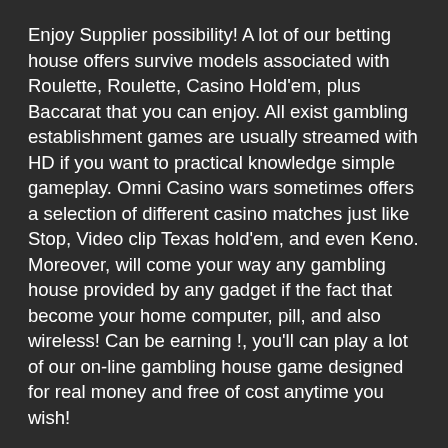Enjoy Supplier possibility! A lot of our betting house offers survive models associated with Roulette, Roulette, Casino Hold'em, plus Baccarat that you can enjoy. All exist gambling establishment games are usually streamed with HD if you want to practical knowledge simple gameplay. Omni Casino wars sometimes offers a selection of different casino matches just like Stop, Video clip Texas hold'em, and even Keno. Moreover, will come your way any gambling house provided by any gadget if the fact that become your home computer, pill, and also wireless! Can be earning !, you'll can play a lot of our on-line gambling house game designed for real money and free of cost anytime you wish!
Typically the play for no reason ends if you play on the net position game on Omni Casino wars! A lot of our big assortment of internet casino spots flash